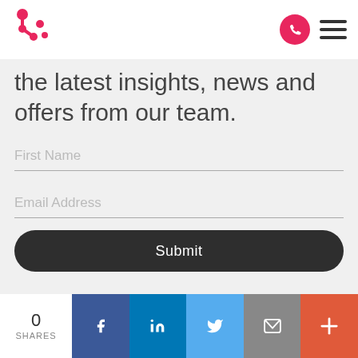[Figure (logo): Brand logo — pink/red stylized figure with dots]
the latest insights, news and offers from our team.
First Name
Email Address
Submit
0 SHARES
[Figure (infographic): Social share bar with Facebook, LinkedIn, Twitter, Email, and plus buttons]